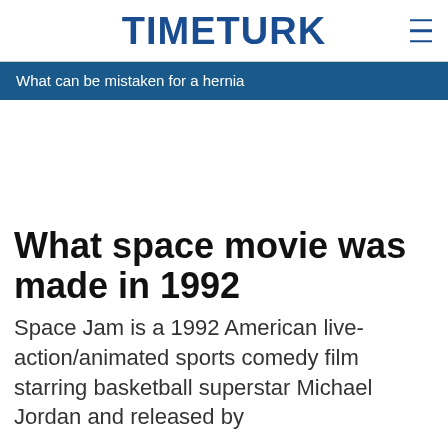TIMETURK
What can be mistaken for a hernia
What space movie was made in 1992
Space Jam is a 1992 American live-action/animated sports comedy film starring basketball superstar Michael Jordan and released by